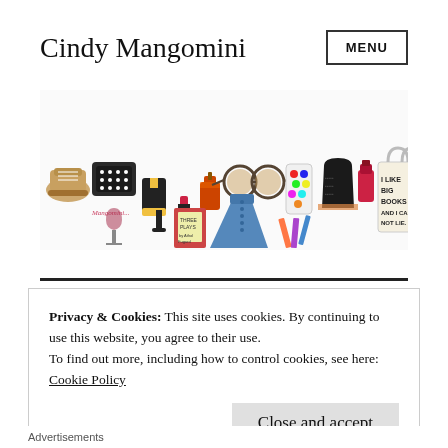Cindy Mangomini
MENU
[Figure (illustration): Illustrated banner showing fashion and lifestyle items: shoes, purse, heels, ink bottle, sunglasses, paint palette phone case, crop top, nail polish, tote bag with text 'I LIKE BIG BOOKS AND I CAN NOT LIE', wine glass, lipstick, book 'Three Plays by Athol Fugard', denim skirt, pencils/brushes.]
Privacy & Cookies: This site uses cookies. By continuing to use this website, you agree to their use.
To find out more, including how to control cookies, see here:
Cookie Policy
Close and accept
Advertisements